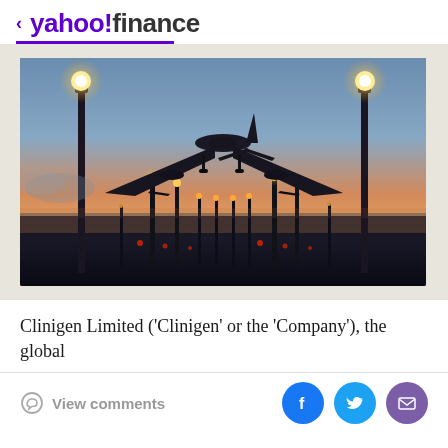< yahoo!finance
[Figure (photo): Airplane landing at dusk/sunset with airport runway lights in the foreground and background, silhouetted against an orange and blue sky]
Clinigen Limited ('Clinigen' or the 'Company'), the global
View comments